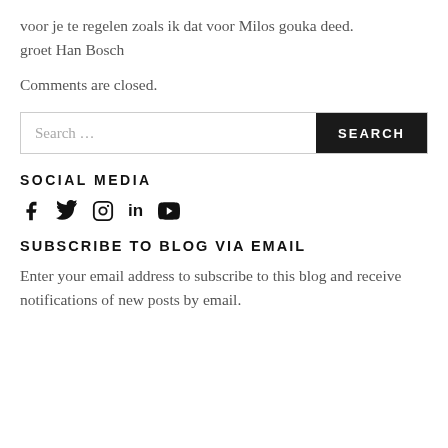voor je te regelen zoals ik dat voor Milos gouka deed.
groet Han Bosch
Comments are closed.
Search …
SOCIAL MEDIA
[Figure (other): Social media icons: Facebook, Twitter, Instagram, LinkedIn, YouTube]
SUBSCRIBE TO BLOG VIA EMAIL
Enter your email address to subscribe to this blog and receive notifications of new posts by email.